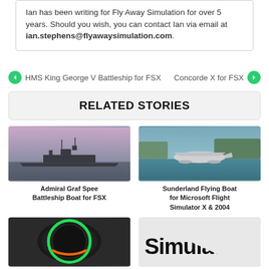Ian has been writing for Fly Away Simulation for over 5 years. Should you wish, you can contact Ian via email at ian.stephens@flyawaysimulation.com.
HMS King George V Battleship for FSX
Concorde X for FSX
RELATED STORIES
[Figure (photo): Admiral Graf Spee battleship boat on water with pink sky]
Admiral Graf Spee Battleship Boat for FSX
[Figure (photo): Sunderland Flying Boat seaplane on water near shore]
Sunderland Flying Boat for Microsoft Flight Simulator X & 2004
[Figure (photo): Close-up of flight simulator throttle or instrument with green ring]
[Figure (photo): Simulator text/logo partially visible]